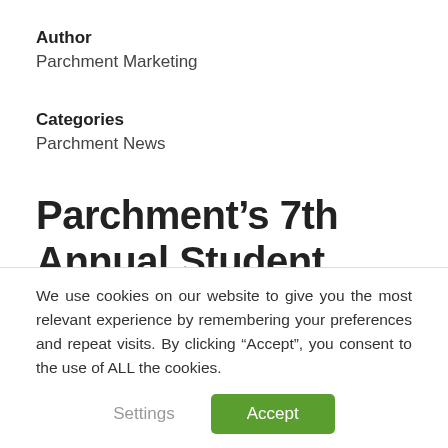Author
Parchment Marketing
Categories
Parchment News
Parchment's 7th Annual Student Choice College Rankings
We use cookies on our website to give you the most relevant experience by remembering your preferences and repeat visits. By clicking “Accept”, you consent to the use of ALL the cookies.